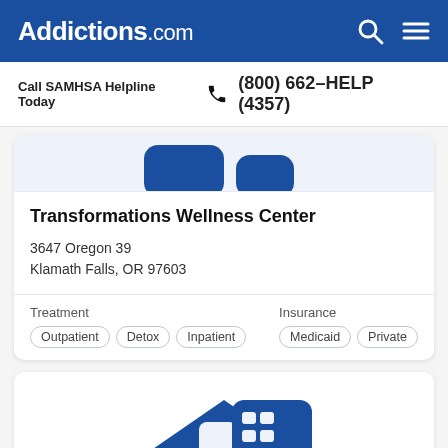Addictions.com
Call SAMHSA Helpline Today  (800) 662-HELP (4357)
[Figure (illustration): Partial view of a facility/building icon in blue, cropped at top of card]
Transformations Wellness Center
3647 Oregon 39
Klamath Falls, OR 97603
Treatment
Outpatient  Detox  Inpatient
Insurance
Medicaid  Private
[Figure (illustration): Partial view of a building/house icon in blue, shown at bottom of page, partially cropped]